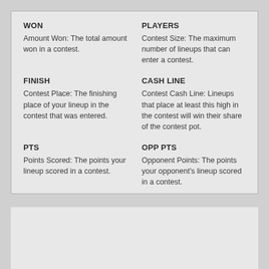WON
Amount Won: The total amount won in a contest.
PLAYERS
Contest Size: The maximum number of lineups that can enter a contest.
FINISH
Contest Place: The finishing place of your lineup in the contest that was entered.
CASH LINE
Contest Cash Line: Lineups that place at least this high in the contest will win their share of the contest pot.
PTS
Points Scored: The points your lineup scored in a contest.
OPP PTS
Opponent Points: The points your opponent's lineup scored in a contest.